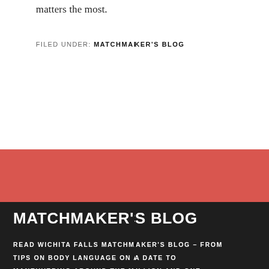matters the most.
FILED UNDER: MATCHMAKER'S BLOG
MATCHMAKER'S BLOG
READ WICHITA FALLS MATCHMAKER'S BLOG – FROM TIPS ON BODY LANGUAGE ON A DATE TO MANEUVERING AROUND THE MILLION AND ONE